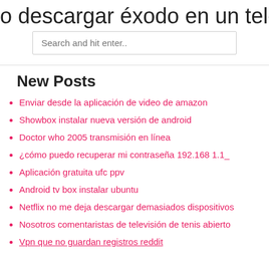o descargar éxodo en un teléfono an
Search and hit enter..
New Posts
Enviar desde la aplicación de video de amazon
Showbox instalar nueva versión de android
Doctor who 2005 transmisión en línea
¿cómo puedo recuperar mi contraseña 192.168 1.1_
Aplicación gratuita ufc ppv
Android tv box instalar ubuntu
Netflix no me deja descargar demasiados dispositivos
Nosotros comentaristas de televisión de tenis abierto
Vpn que no guardan registros reddit